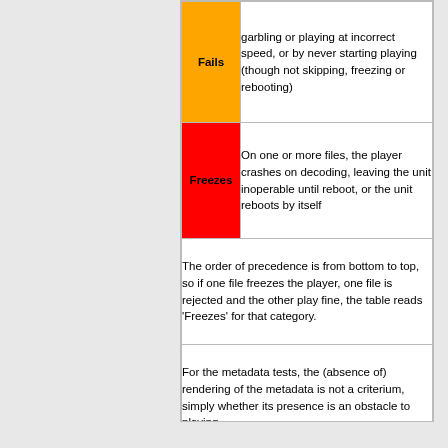| Fails | garbling or playing at incorrect speed, or by never starting playing (though not skipping, freezing or rebooting) |
| Freezes | On one or more files, the player crashes on decoding, leaving the unit inoperable until reboot, or the unit reboots by itself |
| (merged) | The order of precedence is from bottom to top, so if one file freezes the player, one file is rejected and the other play fine, the table reads 'Freezes' for that category. |
| (merged) | For the metadata tests, the (absence of) rendering of the metadata is not a criterium, simply whether its presence is an obstacle to playing |